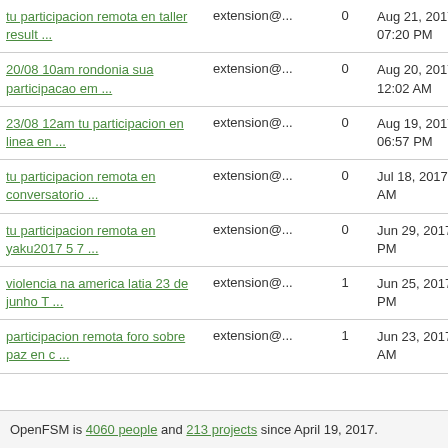| Subject | From | Count | Date |
| --- | --- | --- | --- |
| tu participacion remota en taller result ... | extension@... | 0 | Aug 21, 2017 07:20 PM |
| 20/08 10am rondonia sua participacao em ... | extension@... | 0 | Aug 20, 2017 12:02 AM |
| 23/08 12am tu participacion en linea en ... | extension@... | 0 | Aug 19, 2017 06:57 PM |
| tu participacion remota en conversatorio ... | extension@... | 0 | Jul 18, 2017 03:51 AM |
| tu participacion remota en yaku2017 5 7 ... | extension@... | 0 | Jun 29, 2017 11:46 PM |
| violencia na america latia 23 de junho T ... | extension@... | 1 | Jun 25, 2017 01:31 PM |
| participacion remota foro sobre paz en c ... | extension@... | 1 | Jun 23, 2017 12:19 AM |
OpenFSM is 4060 people and 213 projects since April 19, 2017.